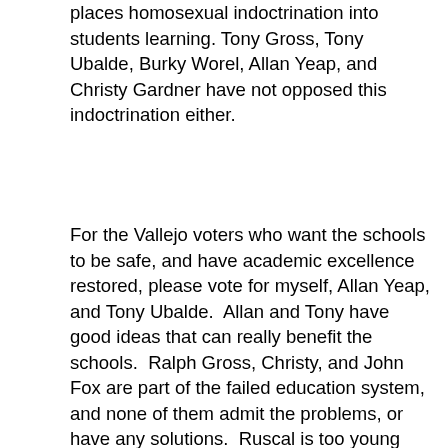places homosexual indoctrination into students learning. Tony Gross, Tony Ubalde, Burky Worel, Allan Yeap, and Christy Gardner have not opposed this indoctrination either.
For the Vallejo voters who want the schools to be safe, and have academic excellence restored, please vote for myself, Allan Yeap, and Tony Ubalde.  Allan and Tony have good ideas that can really benefit the schools.  Ralph Gross, Christy, and John Fox are part of the failed education system, and none of them admit the problems, or have any solutions.  Ruscal is too young and inexperienced, and while he has flashes of brilliance, as he did in opposing the bond, he is involved with socialists, who believe in wealth redistribution, which is nothing other than theft.   Burky Worel is a fine man, and a former police officer.  It is a very slight edge that Tony Ubalde has over him, in my opinion.  I would not mind working with